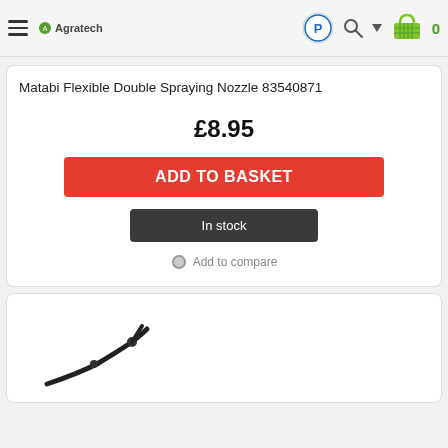Agratech
Matabi Flexible Double Spraying Nozzle 83540871
£8.95
ADD TO BASKET
In stock
Add to compare
[Figure (photo): Photo of a Matabi Flexible Double Spraying Nozzle — a curved dark-colored sprayer nozzle with a flexible hose]